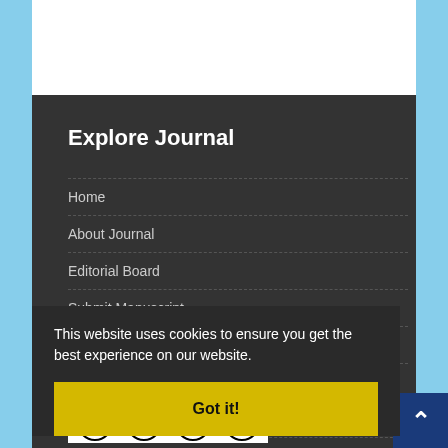Explore Journal
Home
About Journal
Editorial Board
Submit Manuscript
Contact Us
Glossary
Hard Copy Subscription
This website uses cookies to ensure you get the best experience on our website.
Got it!
Latest News
Newsletter